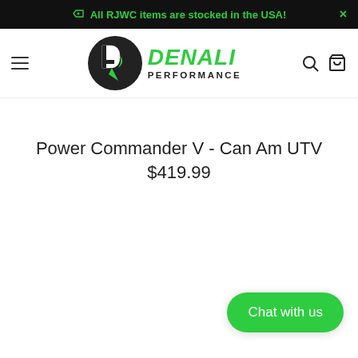All RJWC items are stocked in the USA!
[Figure (logo): Denali Performance logo with circular dp emblem and green DENALI PERFORMANCE text]
Power Commander V - Can Am UTV
$419.99
Chat with us